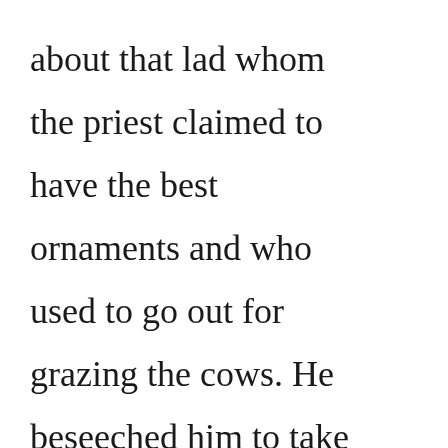about that lad whom the priest claimed to have the best ornaments and who used to go out for grazing the cows. He beseeched him to take him to that place where the lad was